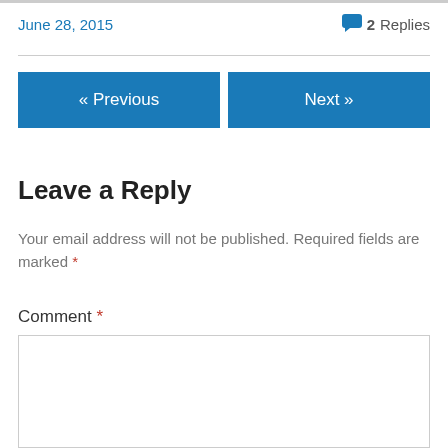June 28, 2015
2 Replies
« Previous
Next »
Leave a Reply
Your email address will not be published. Required fields are marked *
Comment *